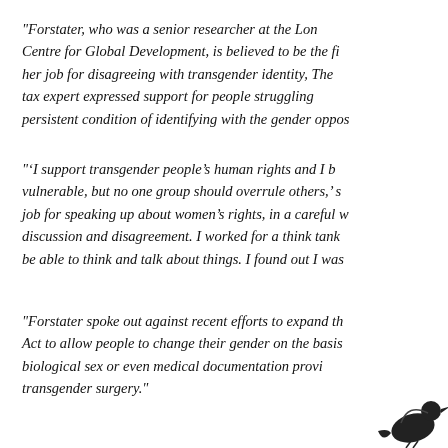“Forstater, who was a senior researcher at the London Centre for Global Development, is believed to be the first to lose her job for disagreeing with transgender identity, The tax expert expressed support for people struggling with the persistent condition of identifying with the gender oppos…
“‘I support transgender people’s human rights and I b… vulnerable, but no one group should overrule others,’ s… job for speaking up about women’s rights, in a careful w… discussion and disagreement. I worked for a think tank… be able to think and talk about things. I found out I was …
“Forstater spoke out against recent efforts to expand th… Act to allow people to change their gender on the basis… biological sex or even medical documentation provi… transgender surgery.”